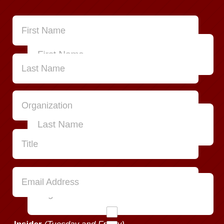First Name
Last Name
Organization
Title
Email Address
Insider (Tuesday and Friday)